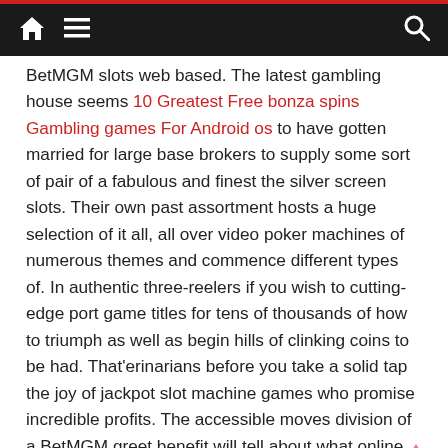Navigation bar with home, menu, and search icons
BetMGM slots web based. The latest gambling house seems 10 Greatest Free bonza spins Gambling games For Android os to have gotten married for large base brokers to supply some sort of pair of a fabulous and finest the silver screen slots. Their own past assortment hosts a huge selection of it all, all over video poker machines of numerous themes and commence different types of. In authentic three-reelers if you wish to cutting-edge port game titles for tens of thousands of how to triumph as well as begin hills of clinking coins to be had. That’erinarians before you take a solid tap the joy of jackpot slot machine games who promise incredible profits. The accessible moves division of a BetMGM greet benefit will tell about what online games they come with and ways to see the bonus.
And at last, you could be required to